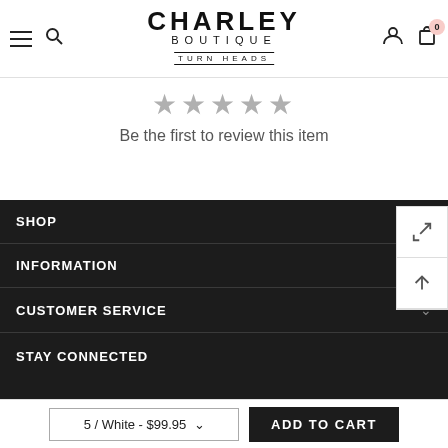Charley Boutique — Turn Heads
[Figure (other): Five empty gray star rating icons indicating no reviews yet]
Be the first to review this item
SHOP
INFORMATION
CUSTOMER SERVICE
STAY CONNECTED
5 / White - $99.95
ADD TO CART